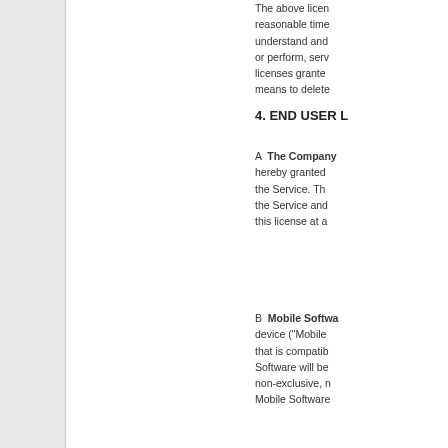The above licen... reasonable time... understand and... or perform, serv... licenses grante... means to delete...
4. END USER L
A The Company hereby granted the Service. The the Service and this license at a
B Mobile Softwa... device ("Mobile... that is compatib... Software will be... non-exclusive, n... Mobile Software...